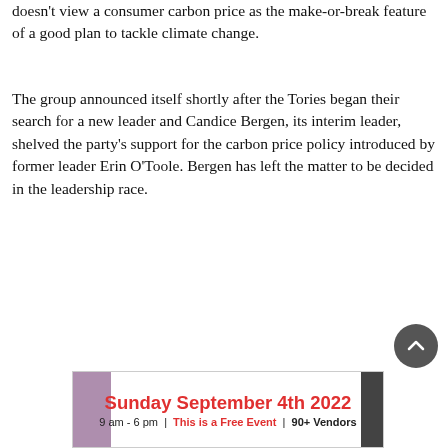doesn't view a consumer carbon price as the make-or-break feature of a good plan to tackle climate change.
The group announced itself shortly after the Tories began their search for a new leader and Candice Bergen, its interim leader, shelved the party's support for the carbon price policy introduced by former leader Erin O'Toole. Bergen has left the matter to be decided in the leadership race.
[Figure (infographic): Advertisement banner for a Sunday September 4th 2022 event, 9 am - 6 pm, described as a Free Event with 90+ Vendors. Decorative images of vegetables on sides.]